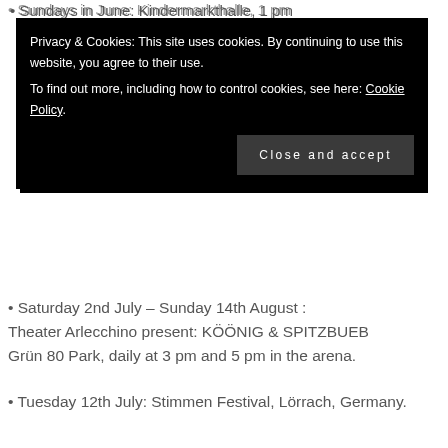• Sundays in June: Kindermarkthalle, 1 pm
[Figure (screenshot): Cookie consent banner with black background. Text: 'Privacy & Cookies: This site uses cookies. By continuing to use this website, you agree to their use. To find out more, including how to control cookies, see here: Cookie Policy'. Button: 'Close and accept']
• Saturday 2nd July – Sunday 14th August: Theater Arlecchino present: KÖÖNIG & SPITZBUEB Grün 80 Park, daily at 3 pm and 5 pm in the arena.
• Tuesday 12th July: Stimmen Festival, Lörrach, Germany.
• Thursday 14th – Saturday 16th: Summerstag open-air music festival. Park in Grünen, Munchenstein.
• Wednesday 20th – Saturday 30th July: Basel Tattoo,